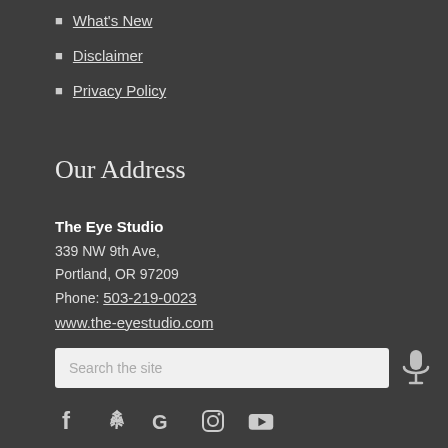What's New
Disclaimer
Privacy Policy
Our Address
The Eye Studio
339 NW 9th Ave,
Portland, OR 97209
Phone: 503-219-0023
www.the-eyestudio.com
[Figure (screenshot): Search input box with microphone icon]
[Figure (infographic): Social media icons: Facebook, Yelp, Google, Instagram, YouTube]